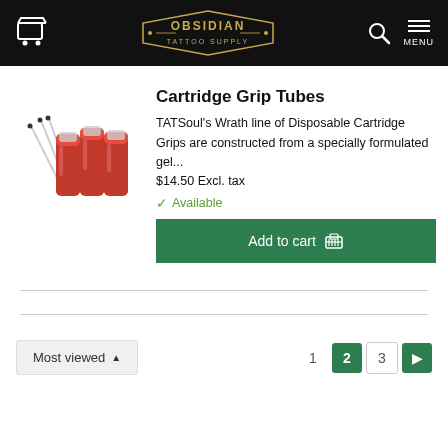Obsidian Tattoo Supply - navigation header with cart, logo, search and menu
[Figure (photo): Three red cylindrical cartridge grip tubes with needle tips shown alongside, product photo on white background]
Cartridge Grip Tubes
TATSoul's Wrath line of Disposable Cartridge Grips are constructed from a specially formulated gel... $14.50 Excl. tax
Available
Add to cart
Most viewed
1  2  3  >